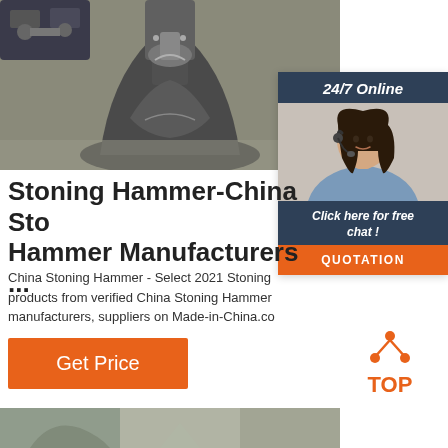[Figure (photo): Industrial hammering machine, close-up of steel mechanical components]
[Figure (infographic): 24/7 Online chat widget with female agent wearing headset, 'Click here for free chat!' text, and QUOTATION button]
Stoning Hammer-China Stoning Hammer Manufacturers ...
China Stoning Hammer - Select 2021 Stoning Hammer products from verified China Stoning Hammer manufacturers, suppliers on Made-in-China.com
[Figure (other): Get Price orange button]
[Figure (logo): TOP logo with orange dots triangle above text]
[Figure (photo): Partial bottom photo showing industrial or outdoor scene]